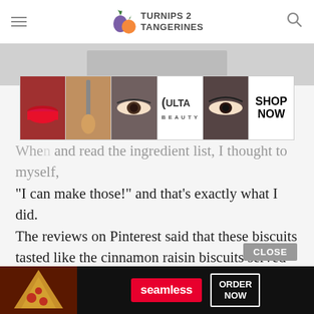TURNIPS 2 TANGERINES
[Figure (photo): Partial image strip visible below header, grayed out]
[Figure (screenshot): Ulta Beauty advertisement banner with makeup images, ULTA logo, and SHOP NOW button]
When ... erest and read the ingredient list, I thought to myself, “I can make those!” and that’s exactly what I did. The reviews on Pinterest said that these biscuits tasted like the cinnamon raisin biscuits served at Hardee’s. Well, I’ve eaten a few cinnamon raisin biscuits from Hardee’s in the past and they’re damn good. That sealed the deal for me, cinnamon raisin biscuits it is.
[Figure (screenshot): Seamless food delivery advertisement with pizza image, seamless logo, and ORDER NOW button]